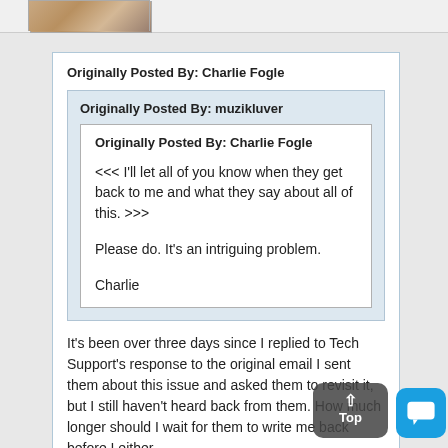[Figure (photo): Partial avatar/profile image at the top of the page]
Originally Posted By: Charlie Fogle
Originally Posted By: muzikluver
Originally Posted By: Charlie Fogle
<<< I'll let all of you know when they get back to me and what they say about all of this. >>>
Please do. It's an intriguing problem.
Charlie
It's been over three days since I replied to Tech Support's response to the original email I sent them about this issue and asked them to revisit it, but I still haven't heard back from them. How much longer should I wait for them to write me back before I either